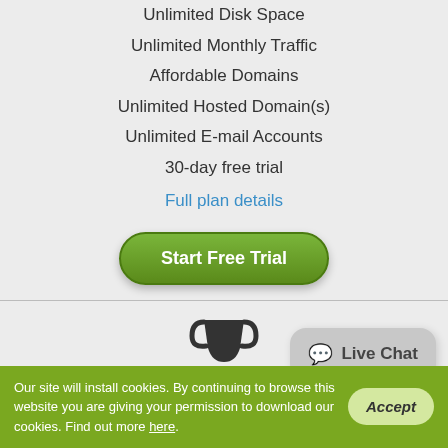Unlimited Disk Space
Unlimited Monthly Traffic
Affordable Domains
Unlimited Hosted Domain(s)
Unlimited E-mail Accounts
30-day free trial
Full plan details
[Figure (other): Green rounded button labeled Start Free Trial]
Service Guarantees
[Figure (other): Live Chat speech bubble widget]
Our site will install cookies. By continuing to browse this website you are giving your permission to download our cookies. Find out more here.